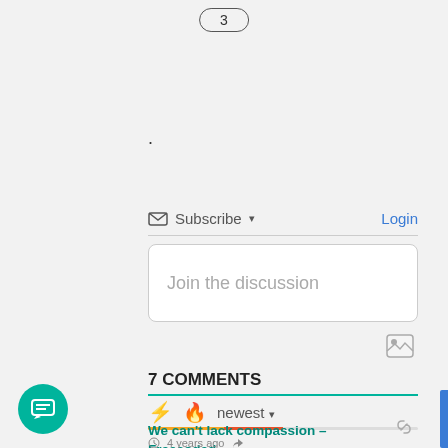3
.
Subscribe ▾   Login
Join the discussion
7 COMMENTS
⚡  🔥  newest ▾
We can't lack compassion – Freecoded
4 years ago